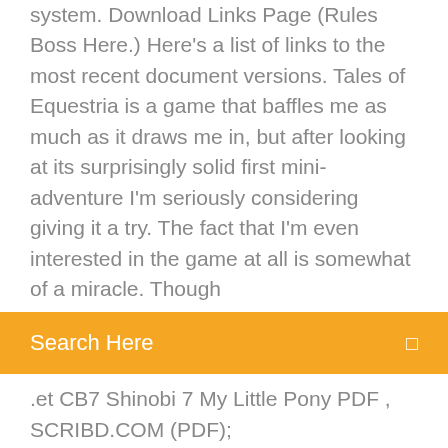system. Download Links Page (Rules Boss Here.) Here's a list of links to the most recent document versions. Tales of Equestria is a game that baffles me as much as it draws me in, but after looking at its surprisingly solid first mini-adventure I'm seriously considering giving it a try. The fact that I'm even interested in the game at all is somewhat of a miracle. Though
Search Here
.et CB7 Shinobi 7 My Little Pony PDF , SCRIBD.COM (PDF); Shinobi 7 My Little Pony: Tails of
A short video demonstrating the features of Ponify and how to use Ponify with Firefox and Google Chrome/Chromium. The second part of this two-part series is Rainbow dash | Etsyhttps://etsy.com/market/rainbow-dashCheck out our rainbow dash selection for the very best in unique or custom, handmade pieces from our shops. You're dealing with the ninja of the snow here! It'll take more than that to bring us down! my